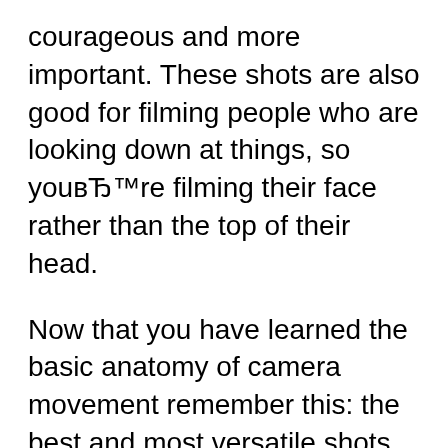courageous and more important. These shots are also good for filming people who are looking down at things, so youвЂ™re filming their face rather than the top of their head.
Now that you have learned the basic anatomy of camera movement remember this: the best and most versatile shots of all are the standard wide, medium and close-up stationary shots. However, well-executed camera movements are the icing on the video-cake. They add style, feeling and depth to a project. Although we have given you several reasons Filmmaking. 50+ Camera Angles, Shots, and Movements: A Complete Guide. nofilmschool.com